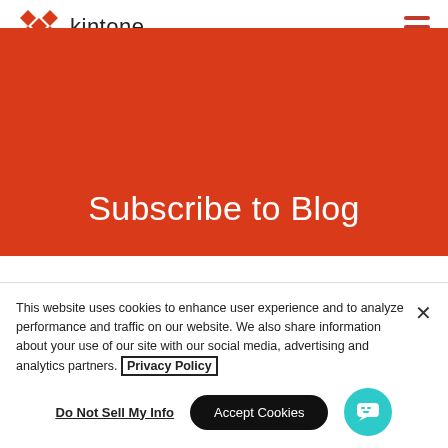kintone
Subscribe to Blog
This website uses cookies to enhance user experience and to analyze performance and traffic on our website. We also share information about your use of our site with our social media, advertising and analytics partners. Privacy Policy
Do Not Sell My Info
Accept Cookies